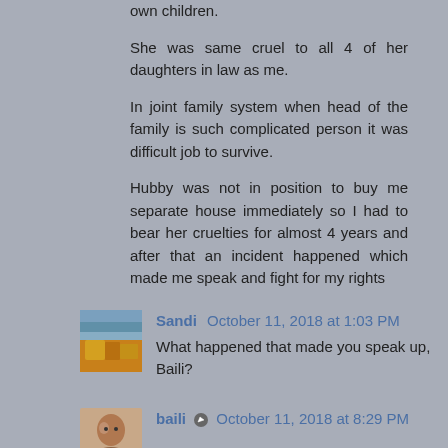own children.
She was same cruel to all 4 of her daughters in law as me.
In joint family system when head of the family is such complicated person it was difficult job to survive.
Hubby was not in position to buy me separate house immediately so I had to bear her cruelties for almost 4 years and after that an incident happened which made me speak and fight for my rights
Sandi October 11, 2018 at 1:03 PM
What happened that made you speak up, Baili?
baili October 11, 2018 at 8:29 PM